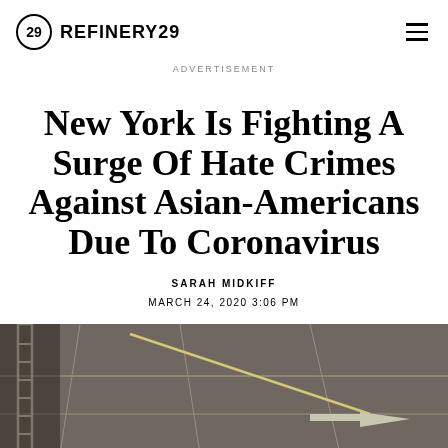REFINERY29
ADVERTISEMENT
New York Is Fighting A Surge Of Hate Crimes Against Asian-Americans Due To Coronavirus
SARAH MIDKIFF
MARCH 24, 2020 3:06 PM
[Figure (photo): Street-level photo of New York City pavement showing painted road markings including an arrow and 'ONLY' text, viewed from above at an angle.]